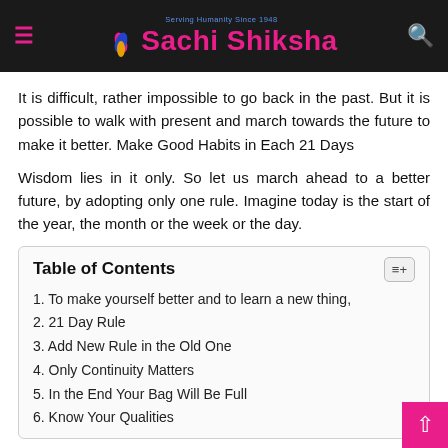Sachi Shiksha
It is difficult, rather impossible to go back in the past. But it is possible to walk with present and march towards the future to make it better. Make Good Habits in Each 21 Days
Wisdom lies in it only. So let us march ahead to a better future, by adopting only one rule. Imagine today is the start of the year, the month or the week or the day.
| Table of Contents |
| --- |
| 1. To make yourself better and to learn a new thing, |
| 2. 21 Day Rule |
| 3. Add New Rule in the Old One |
| 4. Only Continuity Matters |
| 5. In the End Your Bag Will Be Full |
| 6. Know Your Qualities |